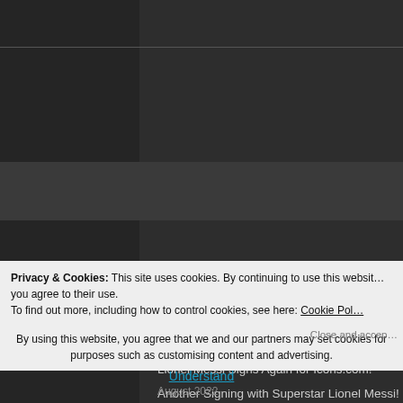RECENT POSTS
We Predict... The 2022-23 Season
Spain Legend Cesc Fabregas Signs for Icons.com!
Lionel Messi Signs Again for Icons.com!
Another Signing with Superstar Lionel Messi!
Privacy & Cookies: This site uses cookies. By continuing to use this website, you agree to their use. To find out more, including how to control cookies, see here: Cookie Policy
By using this website, you agree that we and our partners may set cookies for purposes such as customising content and advertising.
Understand
August 2022